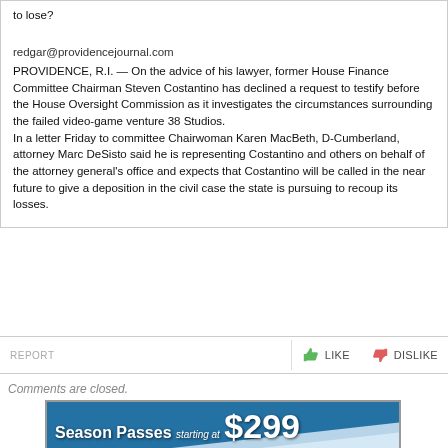to lose?
redgar@providencejournal.com
PROVIDENCE, R.I. — On the advice of his lawyer, former House Finance Committee Chairman Steven Costantino has declined a request to testify before the House Oversight Commission as it investigates the circumstances surrounding the failed video-game venture 38 Studios.
In a letter Friday to committee Chairwoman Karen MacBeth, D-Cumberland, attorney Marc DeSisto said he is representing Costantino and others on behalf of the attorney general's office and expects that Costantino will be called in the near future to give a deposition in the civil case the state is pursuing to recoup its losses.
REPORT   LIKE   DISLIKE
Comments are closed.
[Figure (infographic): Advertisement banner: Season Passes starting at $299. Purchase by Labor Day and SAVE! Shows a skier on a snowy slope.]